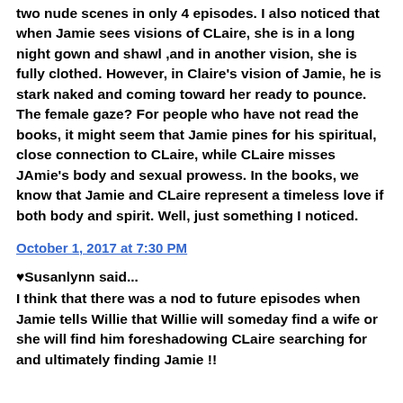two nude scenes in only 4 episodes. I also noticed that when Jamie sees visions of CLaire, she is in a long night gown and shawl ,and in another vision, she is fully clothed. However, in Claire's vision of Jamie, he is stark naked and coming toward her ready to pounce. The female gaze? For people who have not read the books, it might seem that Jamie pines for his spiritual, close connection to CLaire, while CLaire misses JAmie's body and sexual prowess. In the books, we know that Jamie and CLaire represent a timeless love if both body and spirit. Well, just something I noticed.
October 1, 2017 at 7:30 PM
♥Susanlynn said...
I think that there was a nod to future episodes when Jamie tells Willie that Willie will someday find a wife or she will find him foreshadowing CLaire searching for and ultimately finding Jamie !!